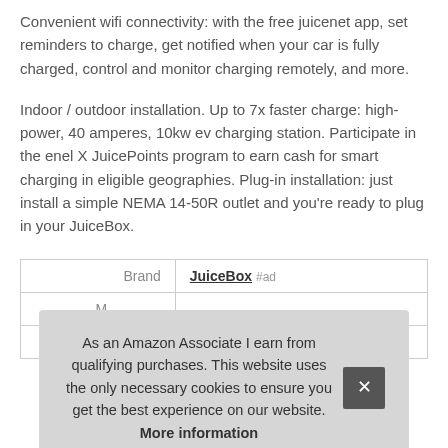Convenient wifi connectivity: with the free juicenet app, set reminders to charge, get notified when your car is fully charged, control and monitor charging remotely, and more.
Indoor / outdoor installation. Up to 7x faster charge: high-power, 40 amperes, 10kw ev charging station. Participate in the enel X JuicePoints program to earn cash for smart charging in eligible geographies. Plug-in installation: just install a simple NEMA 14-50R outlet and you're ready to plug in your JuiceBox.
| Brand | JuiceBox #ad |
| M... |  |
| P... |  |
As an Amazon Associate I earn from qualifying purchases. This website uses the only necessary cookies to ensure you get the best experience on our website. More information